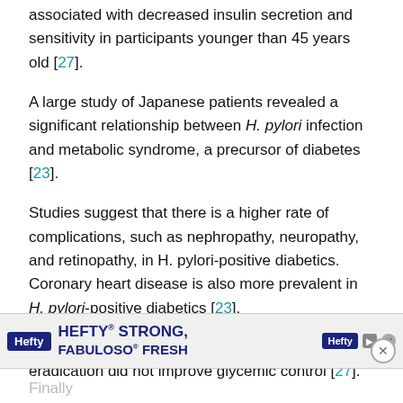associated with decreased insulin secretion and sensitivity in participants younger than 45 years old [27].
A large study of Japanese patients revealed a significant relationship between H. pylori infection and metabolic syndrome, a precursor of diabetes [23].
Studies suggest that there is a higher rate of complications, such as nephropathy, neuropathy, and retinopathy, in H. pylori-positive diabetics. Coronary heart disease is also more prevalent in H. pylori-positive diabetics [23].
However, in type 2 and type 1 diabetics, H. pylori eradication did not improve glycemic control [27].
Finally